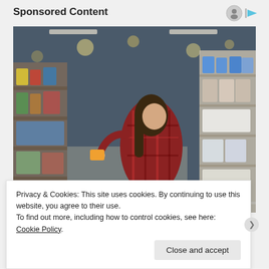Sponsored Content
[Figure (photo): Woman in a plaid shirt crouching in a pharmacy/grocery store aisle, examining a product from a shelf. Store shelves with various products visible in background.]
Sizing Up Your Psoriasis Medicine Cabinet
Privacy & Cookies: This site uses cookies. By continuing to use this website, you agree to their use.
To find out more, including how to control cookies, see here: Cookie Policy
Close and accept